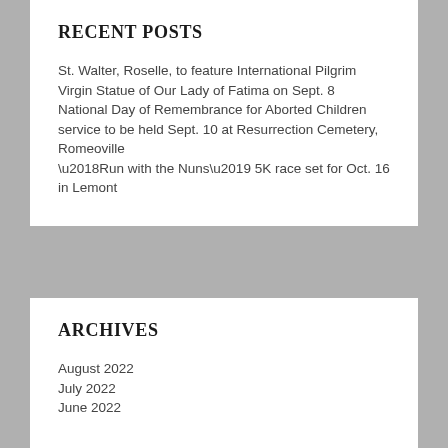RECENT POSTS
St. Walter, Roselle, to feature International Pilgrim Virgin Statue of Our Lady of Fatima on Sept. 8
National Day of Remembrance for Aborted Children service to be held Sept. 10 at Resurrection Cemetery, Romeoville
‘Run with the Nuns’ 5K race set for Oct. 16 in Lemont
ARCHIVES
August 2022
July 2022
June 2022